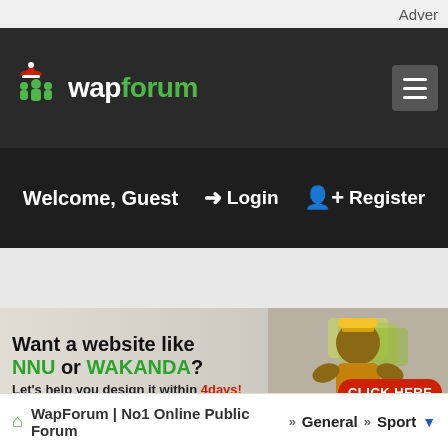Adver
[Figure (logo): WapForum logo with green tree/people icon and Christmas hat, text 'wapforum' in white/green]
Welcome, Guest
➜ Login
➕ Register
[Figure (infographic): Advertisement banner: 'Want a website like NNU or WAKANDA? Let's help you design it within 4days!' with man holding money, CLICK HERE red button]
WapForum | No1 Online Public Forum » General » Sport